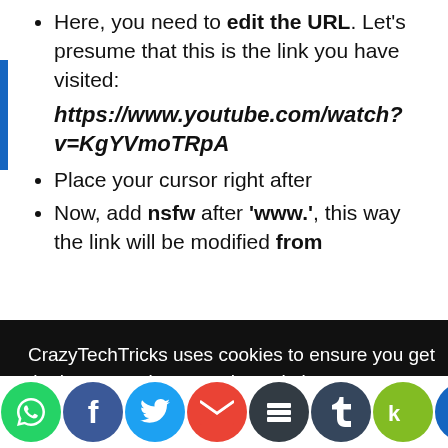Here, you need to edit the URL. Let's presume that this is the link you have visited: https://www.youtube.com/watch?v=KgYVmoTRpA
Place your cursor right after
Now, add nsfw after 'www.', this way the link will be modified from
[Figure (screenshot): Cookie consent banner overlay from CrazyTechTricks website with dark background, text about cookies, 'Know more' link, and OKAY button]
[Figure (infographic): Social sharing icons bar at bottom: WhatsApp, Facebook, Twitter, Gmail, Buffer, Tumblr, Kik, Discord]